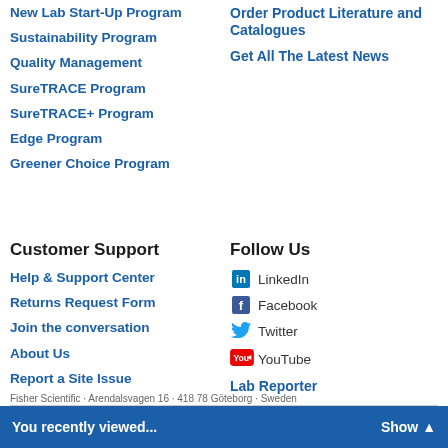New Lab Start-Up Program
Sustainability Program
Quality Management
SureTRACE Program
SureTRACE+ Program
Edge Program
Greener Choice Program
Order Product Literature and Catalogues
Get All The Latest News
Customer Support
Help & Support Center
Returns Request Form
Join the conversation
About Us
Report a Site Issue
Follow Us
LinkedIn
Facebook
Twitter
YouTube
Lab Reporter
Fisher Scientific · Arendalsvagen 16 · 418 78 Göteborg · Sweden
You recently viewed... Show